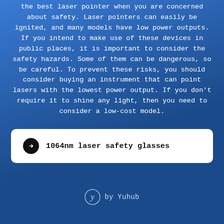the best laser pointer when you are concerned about safety. Laser pointers can easily be ignited, and many models have low power outputs. If you intend to make use of these devices in public places, it is important to consider the safety hazards. Some of them can be dangerous, so be careful. To prevent these risks, you should consider buying an instrument that can point lasers with the lowest power output. If you don't require it to shine any light, then you need to consider a low-cost model.
1064nm laser safety glasses
by Yuhub